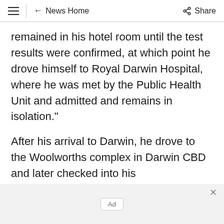≡  ← News Home  Share
remained in his hotel room until the test results were confirmed, at which point he drove himself to Royal Darwin Hospital, where he was met by the Public Health Unit and admitted and remains in isolation."
After his arrival to Darwin, he drove to the Woolworths complex in Darwin CBD and later checked into his accommodation at the Ramada on Wyndham.